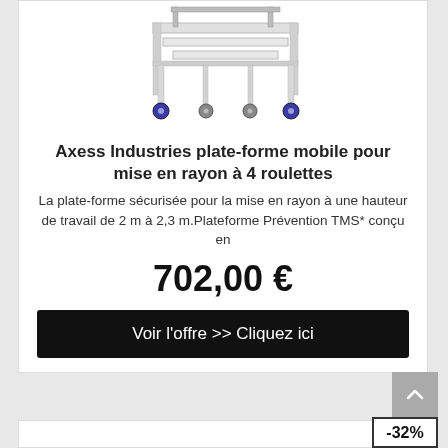[Figure (photo): Product image of a mobile platform with 4 casters/wheels (Axess Industries plate-forme mobile), partially visible at top of card]
Axess Industries plate-forme mobile pour mise en rayon à 4 roulettes
La plate-forme sécurisée pour la mise en rayon à une hauteur de travail de 2 m à 2,3 m.Plateforme Prévention TMS* conçu en
702,00 €
Voir l'offre >> Cliquez ici
-32%